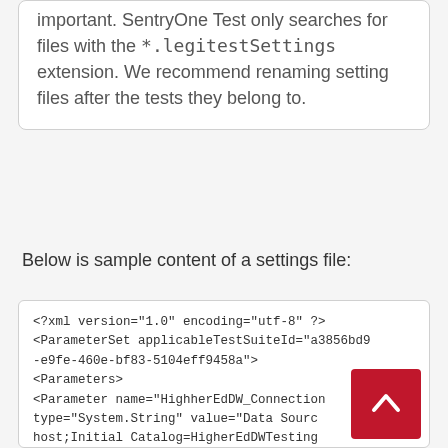important. SentryOne Test only searches for files with the *.legitestSettings extension. We recommend renaming setting files after the tests they belong to.
Below is sample content of a settings file:
<?xml version="1.0" encoding="utf-8" ?>
<ParameterSet applicableTestSuiteId="a3856bd9-e9fe-460e-bf83-5104eff9458a">
<Parameters>
<Parameter name="HighherEdDW_Connection type="System.String" value="Data Source=host;Initial Catalog=HigherEdDWTesting;Integrated Security=True" />
<Parameter name="DataSource" type="System.String" value="localhost" />
<Parameter name="InitialCatalog" type="System.String" value="HigherEdDWTesting" />
</Parameters>